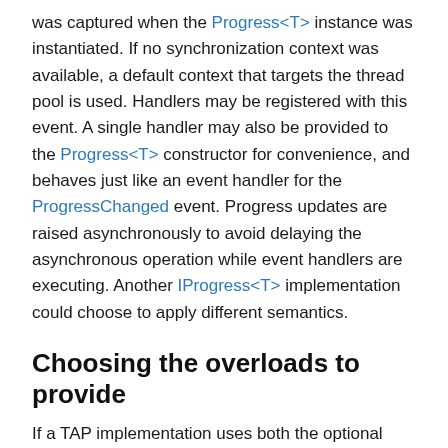was captured when the Progress<T> instance was instantiated. If no synchronization context was available, a default context that targets the thread pool is used. Handlers may be registered with this event. A single handler may also be provided to the Progress<T> constructor for convenience, and behaves just like an event handler for the ProgressChanged event. Progress updates are raised asynchronously to avoid delaying the asynchronous operation while event handlers are executing. Another IProgress<T> implementation could choose to apply different semantics.
Choosing the overloads to provide
If a TAP implementation uses both the optional CancellationToken and optional IProgress<T> parameters, it could potentially require up to four overloads: